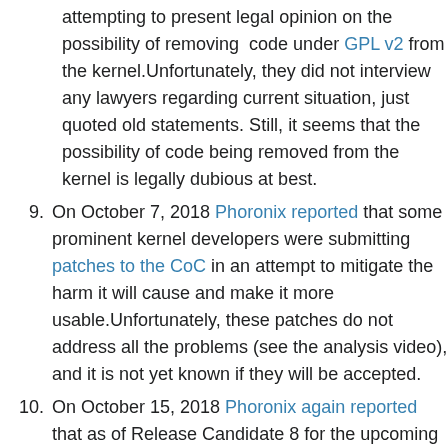attempting to present legal opinion on the possibility of removing code under GPL v2 from the kernel.Unfortunately, they did not interview any lawyers regarding current situation, just quoted old statements. Still, it seems that the possibility of code being removed from the kernel is legally dubious at best.
9. On October 7, 2018 Phoronix reported that some prominent kernel developers were submitting patches to the CoC in an attempt to mitigate the harm it will cause and make it more usable.Unfortunately, these patches do not address all the problems (see the analysis video), and it is not yet known if they will be accepted.
10. On October 15, 2018 Phoronix again reported that as of Release Candidate 8 for the upcoming 4.19 kernel no changes to the CoC were accepted.